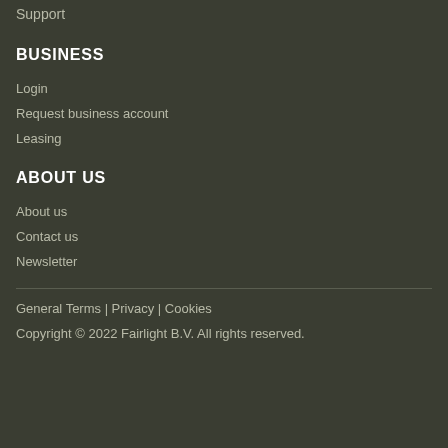Support
BUSINESS
Login
Request business account
Leasing
ABOUT US
About us
Contact us
Newsletter
General Terms | Privacy | Cookies
Copyright © 2022 Fairlight B.V. All rights reserved.